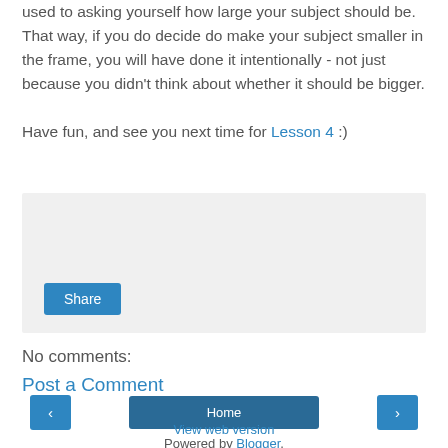used to asking yourself how large your subject should be. That way, if you do decide do make your subject smaller in the frame, you will have done it intentionally - not just because you didn't think about whether it should be bigger.
Have fun, and see you next time for Lesson 4 :)
[Figure (other): Gray share box with a Share button]
No comments:
Post a Comment
< Home >
View web version
Powered by Blogger.